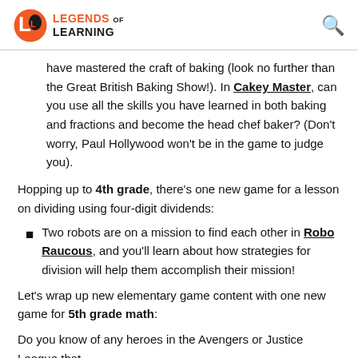Legends of Learning
have mastered the craft of baking (look no further than the Great British Baking Show!). In Cakey Master, can you use all the skills you have learned in both baking and fractions and become the head chef baker? (Don't worry, Paul Hollywood won't be in the game to judge you).
Hopping up to 4th grade, there's one new game for a lesson on dividing using four-digit dividends:
Two robots are on a mission to find each other in Robo Raucous, and you'll learn about how strategies for division will help them accomplish their mission!
Let's wrap up new elementary game content with one new game for 5th grade math:
Do you know of any heroes in the Avengers or Justice League that